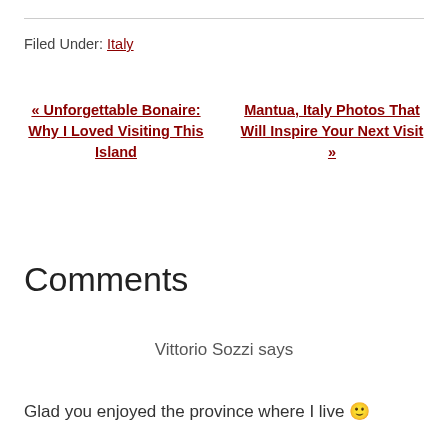Filed Under: Italy
« Unforgettable Bonaire: Why I Loved Visiting This Island
Mantua, Italy Photos That Will Inspire Your Next Visit »
Comments
Vittorio Sozzi says
Glad you enjoyed the province where I live 🙂